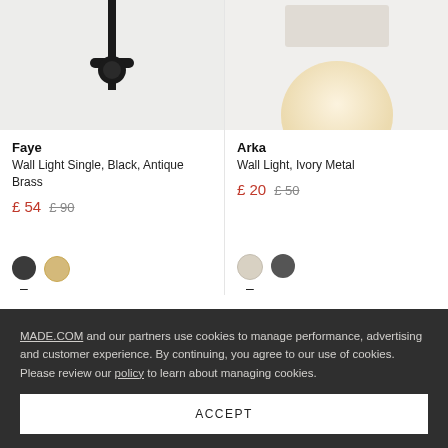[Figure (photo): Wall light product photo - Faye, black metal wall sconce on light grey background]
[Figure (photo): Wall light product photo - Arka, round ivory globe wall light on light background]
Faye
Wall Light Single, Black, Antique Brass
£ 54  £ 90
Arka
Wall Light, Ivory Metal
£ 20  £ 50
MADE.COM and our partners use cookies to manage performance, advertising and customer experience. By continuing, you agree to our use of cookies. Please review our policy to learn about managing cookies.
ACCEPT